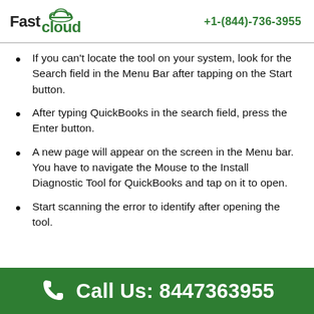Fast cloud | +1-(844)-736-3955
If you can't locate the tool on your system, look for the Search field in the Menu Bar after tapping on the Start button.
After typing QuickBooks in the search field, press the Enter button.
A new page will appear on the screen in the Menu bar. You have to navigate the Mouse to the Install Diagnostic Tool for QuickBooks and tap on it to open.
Start scanning the error to identify after opening the tool.
Call Us: 8447363955